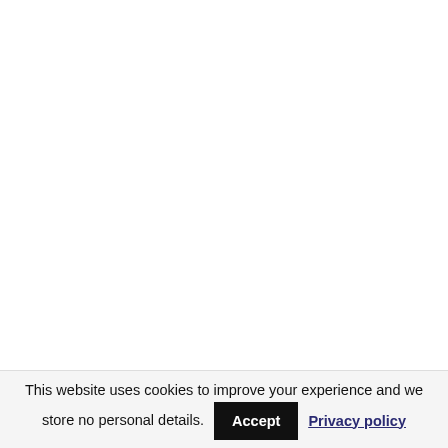This website uses cookies to improve your experience and we store no personal details. Accept Privacy policy